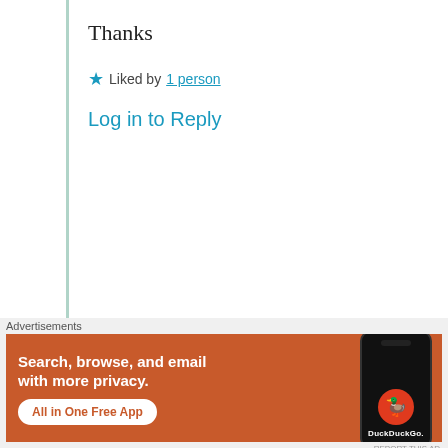Thanks
★ Liked by 1 person
Log in to Reply
Advertisements
[Figure (other): Longreads advertisement banner. Black background with Longreads logo and text: Read anything great lately?]
REPORT THIS AD
rhamhona
Advertisements
[Figure (other): DuckDuckGo advertisement. Orange background with text: Search, browse, and email with more privacy. All in One Free App. Shows a phone with DuckDuckGo logo.]